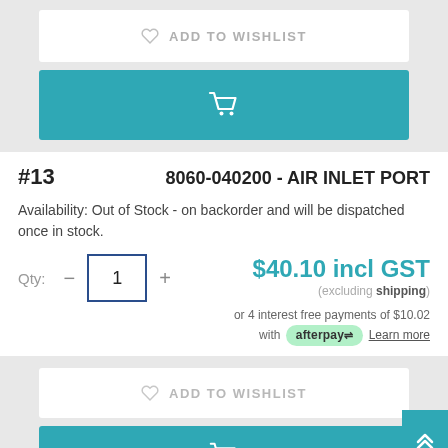[Figure (screenshot): Add to wishlist button with heart icon, gray text on white background]
[Figure (screenshot): Teal/cyan add to cart button with shopping cart icon]
#13   8060-040200 - AIR INLET PORT
Availability: Out of Stock - on backorder and will be dispatched once in stock.
Qty: 1   $40.10 incl GST (excluding shipping) or 4 interest free payments of $10.02 with afterpay Learn more
[Figure (screenshot): Add to wishlist button with heart icon, gray text on white background, bottom]
[Figure (screenshot): Teal/cyan add to cart button with shopping cart icon, bottom]